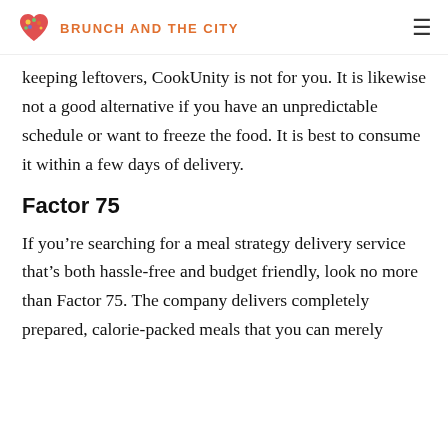BRUNCH AND THE CITY
keeping leftovers, CookUnity is not for you. It is likewise not a good alternative if you have an unpredictable schedule or want to freeze the food. It is best to consume it within a few days of delivery.
Factor 75
If you’re searching for a meal strategy delivery service that’s both hassle-free and budget friendly, look no more than Factor 75. The company delivers completely prepared, calorie-packed meals that you can merely